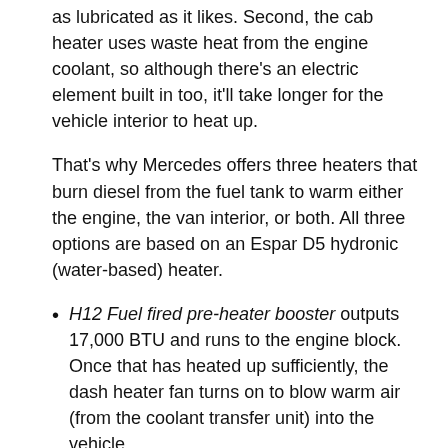as lubricated as it likes. Second, the cab heater uses waste heat from the engine coolant, so although there's an electric element built in too, it'll take longer for the vehicle interior to heat up.
That's why Mercedes offers three heaters that burn diesel from the fuel tank to warm either the engine, the van interior, or both. All three options are based on an Espar D5 hydronic (water-based) heater.
H12 Fuel fired pre-heater booster outputs 17,000 BTU and runs to the engine block. Once that has heated up sufficiently, the dash heater fan turns on to blow warm air (from the coolant transfer unit) into the vehicle.
HZ9 Fuel fired heater booster without pre-heat is a cheaper option that outputs 17,000 BTU but, like the name says, it doesn't have the pre-heat option of H12. It doesn't pre-heat the coolant circuit in the engine block. It